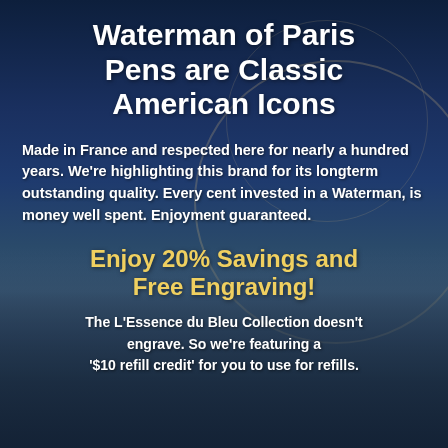Waterman of Paris Pens are Classic American Icons
Made in France and respected here for nearly a hundred years. We're highlighting this brand for its longterm outstanding quality. Every cent invested in a Waterman, is money well spent. Enjoyment guaranteed.
Enjoy 20% Savings and Free Engraving!
The L'Essence du Bleu Collection doesn't engrave. So we're featuring a '$10 refill credit' for you to use for refills.